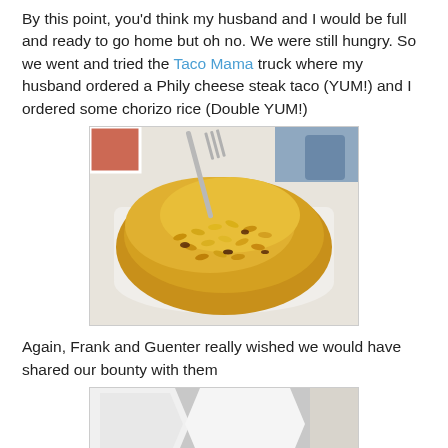By this point, you'd think my husband and I would be full and ready to go home but oh no. We were still hungry. So we went and tried the Taco Mama truck where my husband ordered a Phily cheese steak taco (YUM!) and I ordered some chorizo rice (Double YUM!)
[Figure (photo): Close-up photo of a large pile of chorizo rice served in a white paper bowl, with a fork visible at the top, on a white table surface.]
Again, Frank and Guenter really wished we would have shared our bounty with them
[Figure (photo): Partially visible photo showing what appears to be a white hexagonal or angular object on a grey floor surface, cropped at the bottom of the page.]